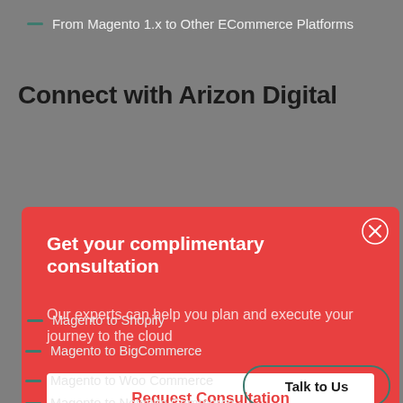— From Magento 1.x to Other ECommerce Platforms
Connect with Arizon Digital
[Figure (screenshot): Red modal dialog popup with title 'Get your complimentary consultation', body text 'Our experts can help you plan and execute your journey to the cloud', and a white 'Request Consultation' button. A close (X) button appears in the top-right corner of the modal.]
— Magento to Shopify
— Magento to BigCommerce
— Magento to Woo Commerce
— Magento to Netsuite Commerce